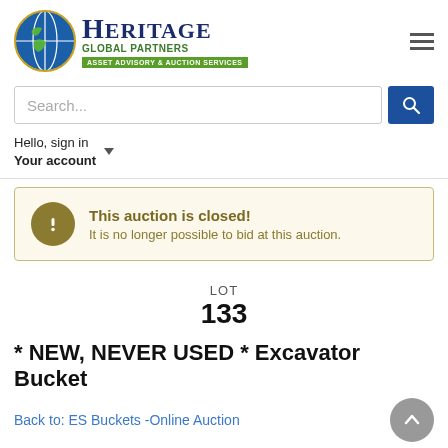[Figure (logo): Heritage Global Partners logo with globe icon, blue and green text, and green asset advisory bar]
Search...
Hello, sign in
Your account
This auction is closed!
It is no longer possible to bid at this auction.
LOT
133
* NEW, NEVER USED * Excavator Bucket
Back to: ES Buckets -Online Auction